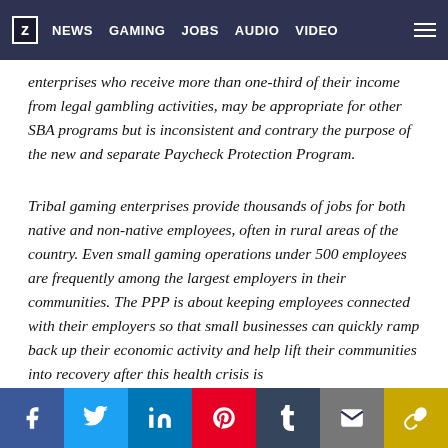z NEWS GAMING JOBS AUDIO VIDEO
enterprises who receive more than one-third of their income from legal gambling activities, may be appropriate for other SBA programs but is inconsistent and contrary the purpose of the new and separate Paycheck Protection Program.
Tribal gaming enterprises provide thousands of jobs for both native and non-native employees, often in rural areas of the country. Even small gaming operations under 500 employees are frequently among the largest employers in their communities. The PPP is about keeping employees connected with their employers so that small businesses can quickly ramp back up their economic activity and help lift their communities into recovery after this health crisis is
f  t  in  P  t  [mail]  [share]